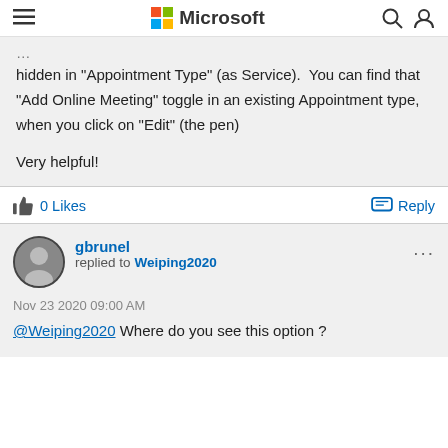Microsoft
hidden in "Appointment Type" (as Service).  You can find that "Add Online Meeting" toggle in an existing Appointment type, when you click on "Edit" (the pen)

Very helpful!
0 Likes    Reply
gbrunel replied to Weiping2020
Nov 23 2020 09:00 AM
@Weiping2020 Where do you see this option ?